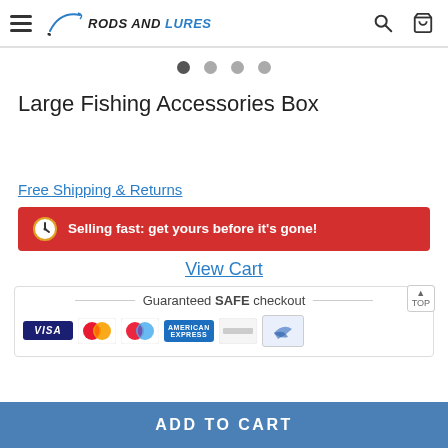RODS AND LURES
Large Fishing Accessories Box
Free Shipping & Returns
Selling fast: get yours before it's gone!
View Cart
Guaranteed SAFE checkout
[Figure (other): Payment method icons: Visa, Mastercard, Maestro, American Express, and others]
ADD TO CART